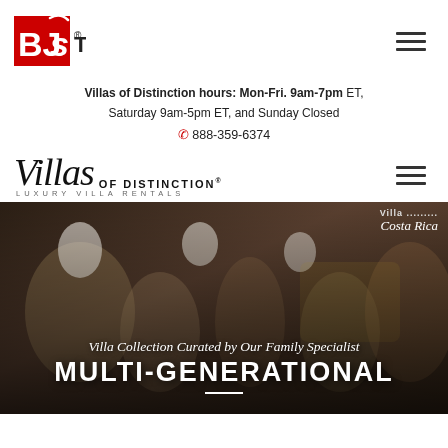[Figure (logo): BJ's Travel logo - red box with BJs text and TRAVEL wordmark]
Villas of Distinction hours: Mon-Fri. 9am-7pm ET, Saturday 9am-5pm ET, and Sunday Closed
888-359-6374
[Figure (logo): Villas of Distinction - Luxury Villa Rentals logo in italic script]
[Figure (photo): Group of people with chefs hats in a villa kitchen, cooking scene in Costa Rica]
Villa Collection Curated by Our Family Specialist
MULTI-GENERATIONAL